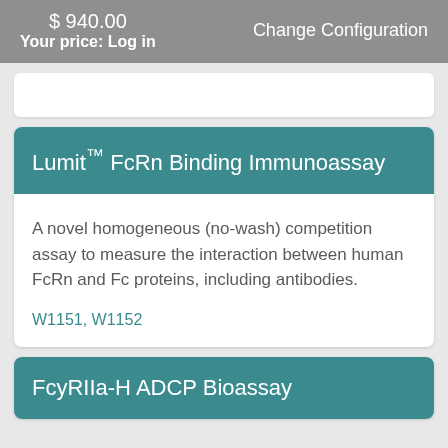$ 940.00
Your price: Log in    Change Configuration
Lumit™ FcRn Binding Immunoassay
A novel homogeneous (no-wash) competition assay to measure the interaction between human FcRn and Fc proteins, including antibodies.
W1151, W1152
FcyRIIa-H ADCP Bioassay